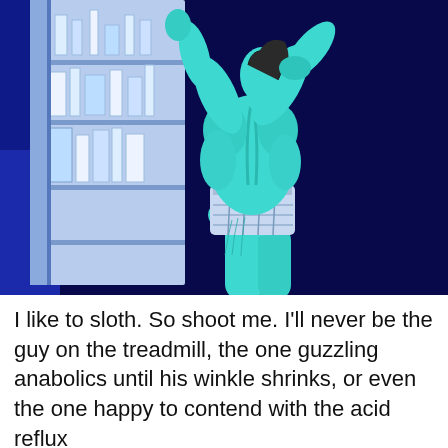[Figure (illustration): Digital illustration of a muscular figure in underwear flexing in front of an open refrigerator at night. The figure has teal/cyan colored skin, visible muscles, and is viewed from behind/side. The background is deep navy blue. The refrigerator interior is lit with blue-white light showing shelves with items. The figure wears patterned white/blue underwear.]
I like to sloth. So shoot me. I'll never be the guy on the treadmill, the one guzzling anabolics until his winkle shrinks, or even the one happy to contend with the acid reflux